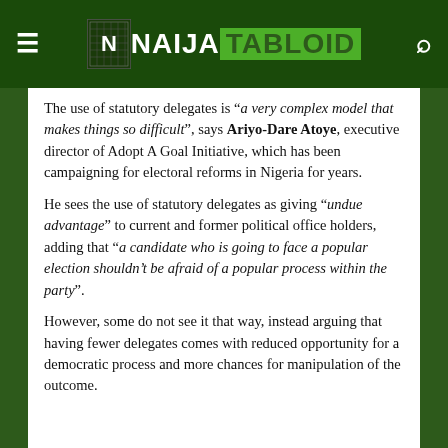[Figure (logo): Naija Tabloid logo with hamburger menu and search icon on dark green header bar]
The use of statutory delegates is “a very complex model that makes things so difficult”, says Ariyo-Dare Atoye, executive director of Adopt A Goal Initiative, which has been campaigning for electoral reforms in Nigeria for years.
He sees the use of statutory delegates as giving “undue advantage” to current and former political office holders, adding that “a candidate who is going to face a popular election shouldn’t be afraid of a popular process within the party”.
However, some do not see it that way, instead arguing that having fewer delegates comes with reduced opportunity for a democratic process and more chances for manipulation of the outcome.